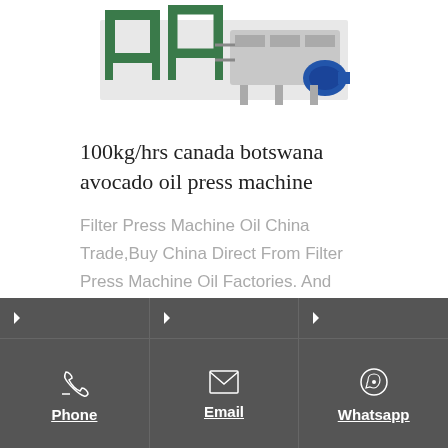[Figure (photo): Industrial oil press machine with green frame components and blue motor, shown against white background]
100kg/hrs canada botswana avocado oil press machine
Filter Press Machine Oil China Trade,Buy China Direct From Filter Press Machine Oil Factories. And whether filter press machine oil is cold & hot pressing machine, filling machine centrifuge. The
Phone  Email  Whatsapp